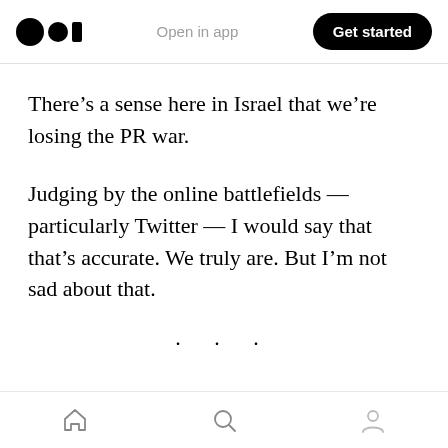Medium logo | Open in app | Get started
There’s a sense here in Israel that we’re losing the PR war.
Judging by the online battlefields — particularly Twitter — I would say that that’s accurate. We truly are. But I’m not sad about that.
• • •
The common response to this observation — that Israel is getting its reputation destroyed online — is “well, if we only had better PR we might
Home | Search | Profile